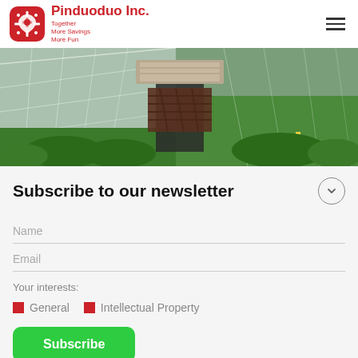Pinduoduo Inc. — Together More Savings More Fun
[Figure (photo): A person working in a greenhouse or polytunnel farm with rows of green crops, carrying boxes or trays overhead, viewed from inside the structure.]
Subscribe to our newsletter
Name
Email
Your interests:
General
Intellectual Property
Subscribe